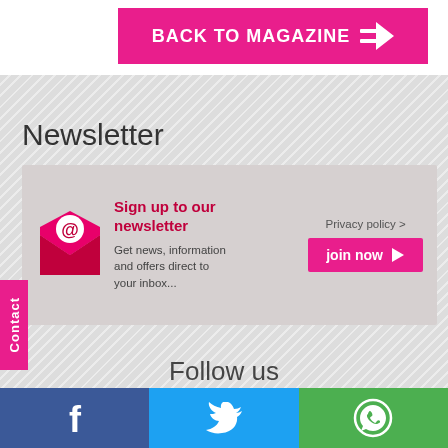[Figure (infographic): Pink 'BACK TO MAGAZINE' button with forward arrow icon]
Newsletter
[Figure (infographic): Newsletter signup box with mail icon, 'Sign up to our newsletter' in red, body text, 'Privacy policy >' link, and pink 'join now' button]
Follow us
[Figure (infographic): Social media icons: Facebook, Twitter, Google+, YouTube]
[Figure (infographic): Bottom social sharing bar with Facebook, Twitter, and WhatsApp segments]